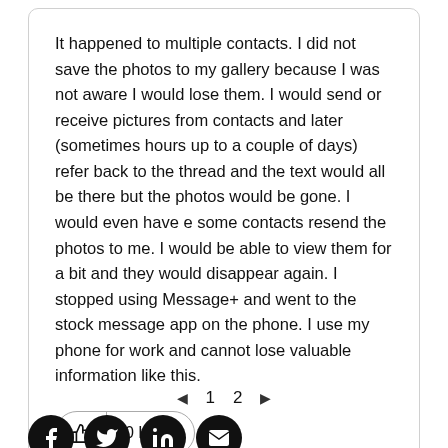It happened to multiple contacts. I did not save the photos to my gallery because I was not aware I would lose them. I would send or receive pictures from contacts and later (sometimes hours up to a couple of days) refer back to the thread and the text would all be there but the photos would be gone. I would even have e some contacts resend the photos to me. I would be able to view them for a bit and they would disappear again. I stopped using Message+ and went to the stock message app on the phone. I use my phone for work and cannot lose valuable information like this.
0 Likes
◄  1  2  ►